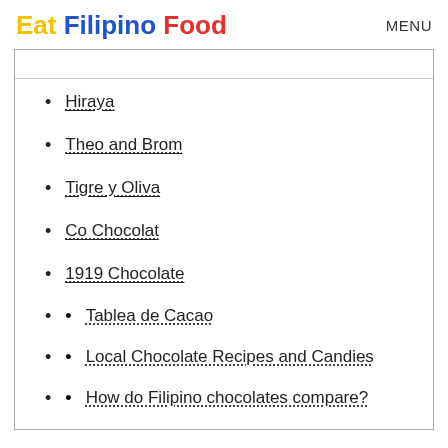Eat Filipino Food  MENU
(truncated link at top)
Hiraya
Theo and Brom
Tigre y Oliva
Co Chocolat
1919 Chocolate
Tablea de Cacao
Local Chocolate Recipes and Candies
How do Filipino chocolates compare?
What are Filipino chocolates...